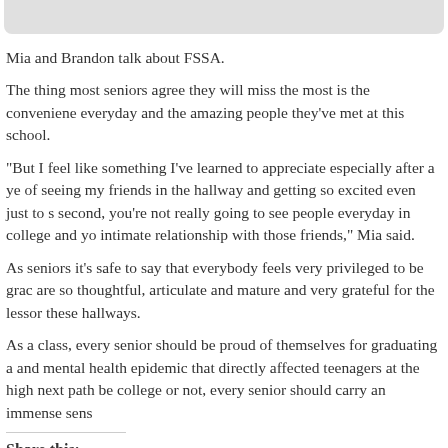[Figure (photo): Rounded gray image placeholder at the top of the page]
Mia and Brandon talk about FSSA.
The thing most seniors agree they will miss the most is the convenience everyday and the amazing people they've met at this school.
“But I feel like something I’ve learned to appreciate especially after a year of seeing my friends in the hallway and getting so excited even just to see second, you’re not really going to see people everyday in college and you intimate relationship with those friends,” Mia said.
As seniors it’s safe to say that everybody feels very privileged to be graduating, are so thoughtful, articulate and mature and very grateful for the lessons these hallways.
As a class, every senior should be proud of themselves for graduating and mental health epidemic that directly affected teenagers at the high next path be college or not, every senior should carry an immense sense
Share this:
Twitter   Facebook
Loading...